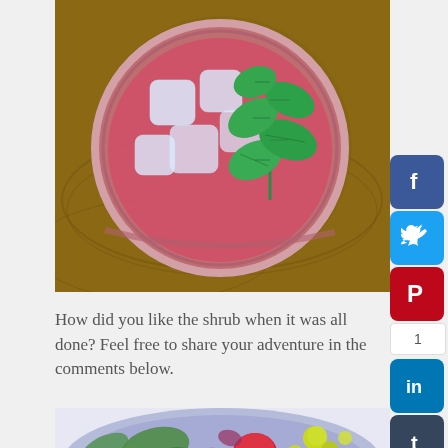[Figure (photo): Overhead view of a mason jar with red/pink shrub drink, ice cubes, and fresh mint leaves, sitting on a wooden surface]
How did you like the shrub when it was all done? Feel free to share your adventure in the comments below.
[Figure (photo): Close-up of a colorful salad bowl with red strawberries, green leafy vegetables, and yellow edible flowers on a blue plate]